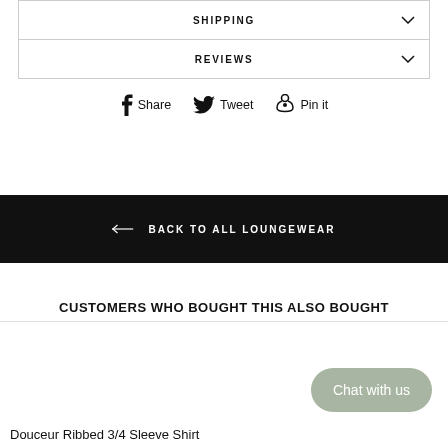SHIPPING
REVIEWS
Share  Tweet  Pin it
BACK TO ALL LOUNGEWEAR
CUSTOMERS WHO BOUGHT THIS ALSO BOUGHT
Douceur Ribbed 3/4 Sleeve Shirt
Chat with us